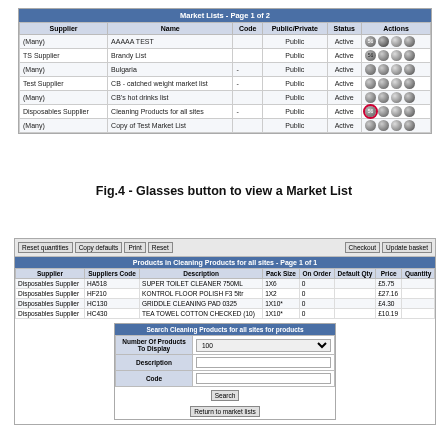[Figure (screenshot): Market Lists table screenshot showing columns: Supplier, Name, Code, Public/Private, Status, Actions with 7 rows of data and action icon buttons]
Fig.4 - Glasses button to view a Market List
[Figure (screenshot): Products in Cleaning Products for all sites table with Reset quantities, Copy defaults, Print, Reset, Checkout, Update basket buttons; product rows and search panel below]